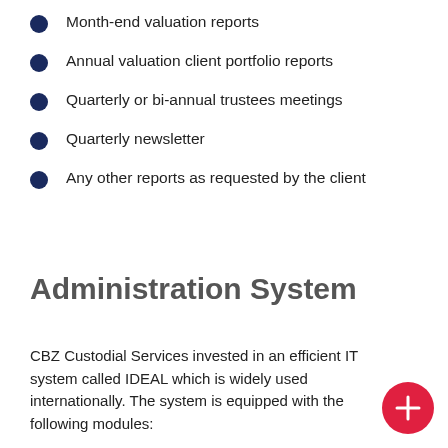Month-end valuation reports
Annual valuation client portfolio reports
Quarterly or bi-annual trustees meetings
Quarterly newsletter
Any other reports as requested by the client
Administration System
CBZ Custodial Services invested in an efficient IT system called IDEAL which is widely used internationally. The system is equipped with the following modules: